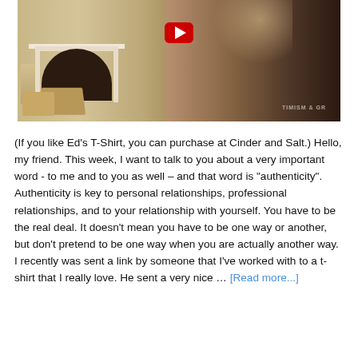[Figure (photo): Video thumbnail showing a smiling man in a grey blazer and dark maroon t-shirt (with text 'TIMISM & GR' partially visible) standing in front of a living room with a white fireplace. A red YouTube play button is visible in the upper center of the image.]
(If you like Ed's T-Shirt, you can purchase at Cinder and Salt.) Hello, my friend. This week, I want to talk to you about a very important word - to me and to you as well – and that word is “authenticity”. Authenticity is key to personal relationships, professional relationships, and to your relationship with yourself. You have to be the real deal. It doesn't mean you have to be one way or another, but don't pretend to be one way when you are actually another way. I recently was sent a link by someone that I've worked with to a t-shirt that I really love. He sent a very nice ... [Read more...]